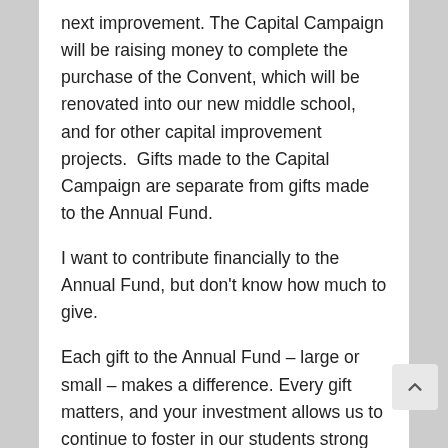next improvement. The Capital Campaign will be raising money to complete the purchase of the Convent, which will be renovated into our new middle school, and for other capital improvement projects.  Gifts made to the Capital Campaign are separate from gifts made to the Annual Fund.
I want to contribute financially to the Annual Fund, but don't know how much to give.
Each gift to the Annual Fund – large or small – makes a difference. Every gift matters, and your investment allows us to continue to foster in our students strong values and a life of faith and servant leadership, all in a challenging and supportive academic environment. We hope you will choose to make this a priority at one of the following giving levels.